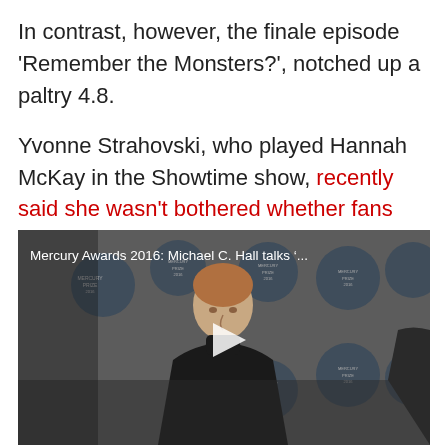In contrast, however, the finale episode 'Remember the Monsters?', notched up a paltry 4.8.

Yvonne Strahovski, who played Hannah McKay in the Showtime show, recently said she wasn't bothered whether fans liked the finale or not.
[Figure (screenshot): Video thumbnail showing a man in a black turtleneck at what appears to be the Mercury Awards 2016 event with circular sponsor logos in the background. A play button is visible in the center. Title reads: Mercury Awards 2016: Michael C. Hall talks '...']